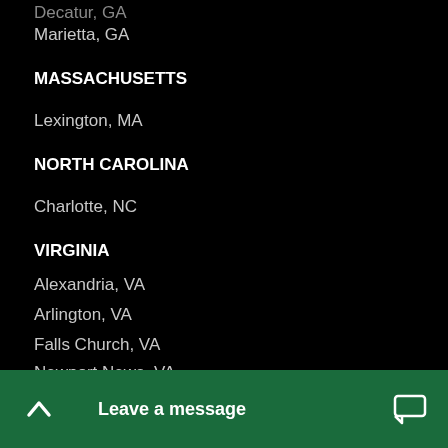Decatur, GA
Marietta, GA
MASSACHUSETTS
Lexington, MA
NORTH CAROLINA
Charlotte, NC
VIRGINIA
Alexandria, VA
Arlington, VA
Falls Church, VA
Newport News, VA
Richmond, VA
Vienna, VA
Virginia Beach, VA
Williamsburg, VA